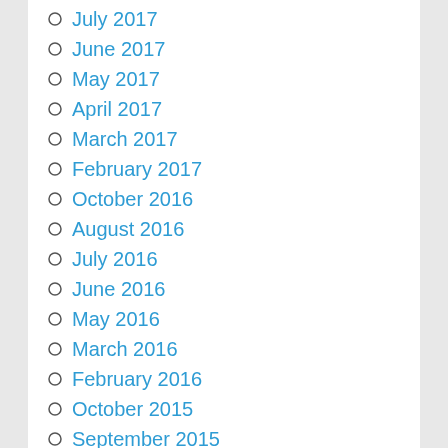July 2017
June 2017
May 2017
April 2017
March 2017
February 2017
October 2016
August 2016
July 2016
June 2016
May 2016
March 2016
February 2016
October 2015
September 2015
August 2015
May 2015